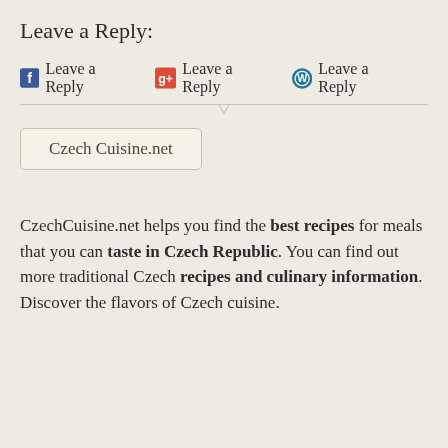Leave a Reply:
Leave a Reply   Leave a Reply   Leave a Reply
Czech Cuisine.net
CzechCuisine.net helps you find the best recipes for meals that you can taste in Czech Republic. You can find out more traditional Czech recipes and culinary information. Discover the flavors of Czech cuisine.